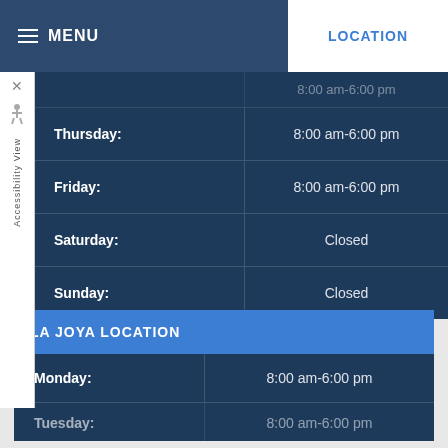MENU | LOCATION
| Day | Hours |
| --- | --- |
|  | 8:00 am-6:00 pm |
| Thursday: | 8:00 am-6:00 pm |
| Friday: | 8:00 am-6:00 pm |
| Saturday: | Closed |
| Sunday: | Closed |
LA JOYA LOCATION
| Day | Hours |
| --- | --- |
| Monday: | 8:00 am-6:00 pm |
| Tuesday: | 8:00 am-6:00 pm |